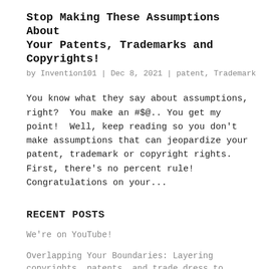Stop Making These Assumptions About Your Patents, Trademarks and Copyrights!
by Invention101 | Dec 8, 2021 | patent, Trademark
You know what they say about assumptions, right?  You make an #$@.. You get my point!  Well, keep reading so you don't make assumptions that can jeopardize your patent, trademark or copyright rights.  First, there's no percent rule!  Congratulations on your...
RECENT POSTS
We're on YouTube!
Overlapping Your Boundaries: Layering copyrights, patents, and trade dress to bolster brand protection
Did you know you can #trademark a SOUND?